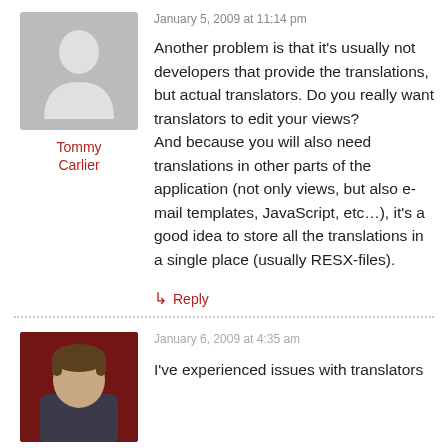January 5, 2009 at 11:14 pm
[Figure (illustration): Gray placeholder avatar silhouette (head and shoulders)]
Tommy Carlier
Another problem is that it's usually not developers that provide the translations, but actual translators. Do you really want translators to edit your views?
And because you will also need translations in other parts of the application (not only views, but also e-mail templates, JavaScript, etc...), it's a good idea to store all the translations in a single place (usually RESX-files).
↳ Reply
January 6, 2009 at 4:35 am
[Figure (photo): Photo of a man with short hair wearing a dark sweater against a red/dark background]
I've experienced issues with translators